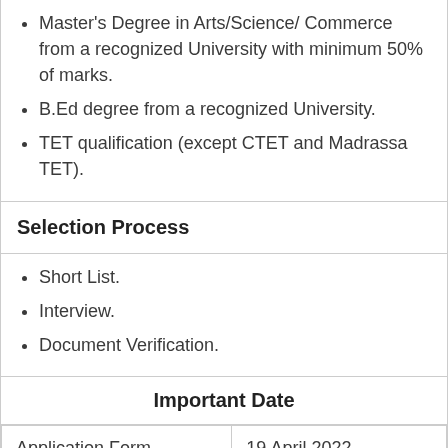Master's Degree in Arts/Science/ Commerce from a recognized University with minimum 50% of marks.
B.Ed degree from a recognized University.
TET qualification (except CTET and Madrassa TET).
Selection Process
Short List.
Interview.
Document Verification.
Important Date
|  |  |
| --- | --- |
| Application Form Starting Date | 19 April 2022 |